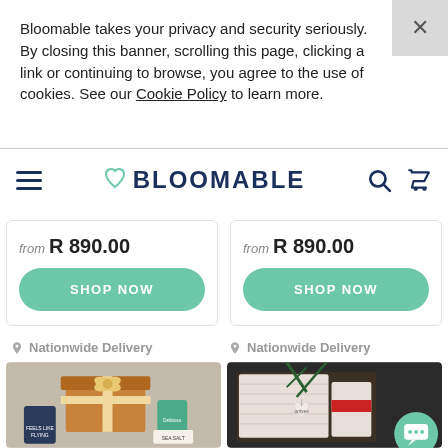Bloomable takes your privacy and security seriously. By closing this banner, scrolling this page, clicking a link or continuing to browse, you agree to the use of cookies. See our Cookie Policy to learn more.
[Figure (logo): Bloomable logo with heart icon, hamburger menu, search and cart icons in navy blue]
from R 890.00
SHOP NOW
from R 890.00
SHOP NOW
Nationwide Delivery
Nationwide Delivery
[Figure (photo): Gift box with ribbon and snack products on grey fur background]
[Figure (photo): Knitted items with heart ornament and pine branches on dark background]